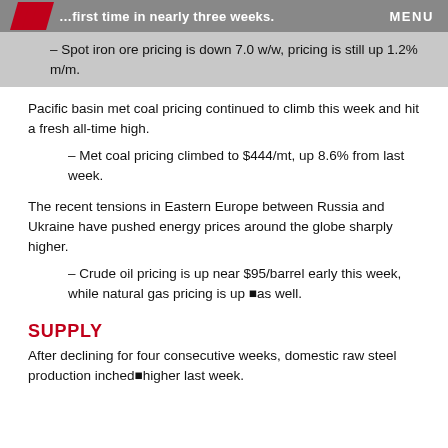...first time in nearly three weeks. MENU
– Spot iron ore pricing is down 7.0 w/w, pricing is still up 1.2% m/m.
Pacific basin met coal pricing continued to climb this week and hit a fresh all-time high.
– Met coal pricing climbed to $444/mt, up 8.6% from last week.
The recent tensions in Eastern Europe between Russia and Ukraine have pushed energy prices around the globe sharply higher.
– Crude oil pricing is up near $95/barrel early this week, while natural gas pricing is up —as well.
SUPPLY
After declining for four consecutive weeks, domestic raw steel production inched higher last week.